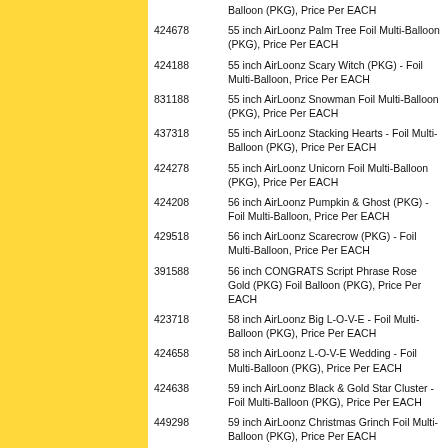| Item # | Description |
| --- | --- |
|  | Balloon (PKG), Price Per EACH |
| 424678 | 55 inch AirLoonz Palm Tree Foil Multi-Balloon (PKG), Price Per EACH |
| 424188 | 55 inch AirLoonz Scary Witch (PKG) - Foil Multi-Balloon, Price Per EACH |
| 831188 | 55 inch AirLoonz Snowman Foil Multi-Balloon (PKG), Price Per EACH |
| 437318 | 55 inch AirLoonz Stacking Hearts - Foil Multi-Balloon (PKG), Price Per EACH |
| 424278 | 55 inch AirLoonz Unicorn Foil Multi-Balloon (PKG), Price Per EACH |
| 424208 | 56 inch AirLoonz Pumpkin & Ghost (PKG) - Foil Multi-Balloon, Price Per EACH |
| 429518 | 56 inch AirLoonz Scarecrow (PKG) - Foil Multi-Balloon, Price Per EACH |
| 391588 | 56 inch CONGRATS Script Phrase Rose Gold (PKG) Foil Balloon (PKG), Price Per EACH |
| 423718 | 58 inch AirLoonz Big L-O-V-E - Foil Multi-Balloon (PKG), Price Per EACH |
| 424658 | 58 inch AirLoonz L-O-V-E Wedding - Foil Multi-Balloon (PKG), Price Per EACH |
| 424638 | 59 inch AirLoonz Black & Gold Star Cluster - Foil Multi-Balloon (PKG), Price Per EACH |
| 449298 | 59 inch AirLoonz Christmas Grinch Foil Multi-Balloon (PKG), Price Per EACH |
| 831178 | 59 inch AirLoonz Christmas Tree Foil Multi-Balloon (PKG), Price Per EACH |
| 424648 | 59 inch AirLoonz Colorful Star Cluster - Foil Multi-Balloon (PKG), Price Per EACH |
| 428518 | 59 inch AirLoonz Patriotic Star Cluster - Foil Multi-Balloon (PKG), Price Per EACH |
| 513121 | 5in Alien Betallatex Assortment, Price Per Bag of 100 |